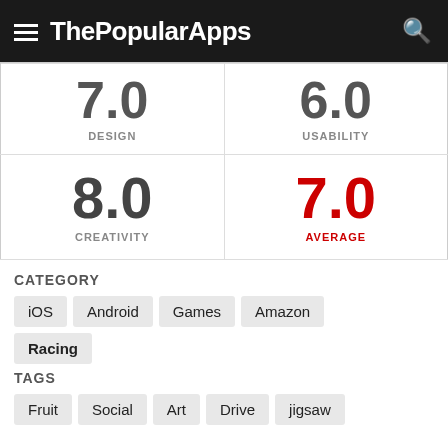ThePopularApps
| 7.0 | DESIGN | 6.0 | USABILITY |
| 8.0 | CREATIVITY | 7.0 | AVERAGE |
CATEGORY
iOS
Android
Games
Amazon
Racing
TAGS
Fruit
Social
Art
Drive
jigsaw